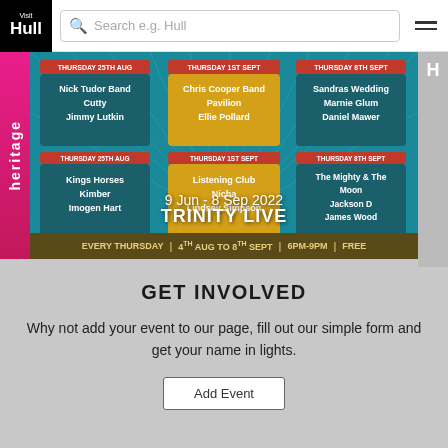Visit Hull — Search e.g. Hull
[Figure (screenshot): Trinity Live 2022 event banner showing schedule of bands across multiple Thursdays, with teal and yellow/gold boxes listing performers including Nick Tudor Band, Cutty, Jimmy Lutkin, Chris Cooper Band, Pavilion, Ellie Pollard, Sandras Wedding, Marnie Glum, Daniel Mawer, Kings Horses, Kimber, Imogen Hart, Listening Club, Nicha, Lindsey Simpson, The Mighty & The Moon, Jackson D, James Wood. Bottom text: Trinity Live continues for 2022! Every Thursday | 4th Aug to 8th Sept | 6PM-9PM | FREE]
GET INVOLVED
Why not add your event to our page, fill out our simple form and get your name in lights.
Add Event